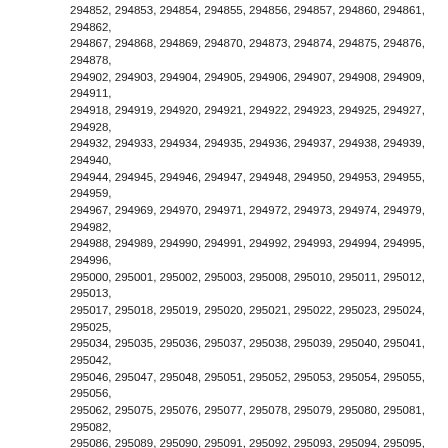294852, 294853, 294854, 294855, 294856, 294857, 294860, 294861, 294862, 294867, 294868, 294869, 294870, 294873, 294874, 294875, 294876, 294878, 294902, 294903, 294904, 294905, 294906, 294907, 294908, 294909, 294911, 294918, 294919, 294920, 294921, 294922, 294923, 294925, 294927, 294928, 294932, 294933, 294934, 294935, 294936, 294937, 294938, 294939, 294940, 294944, 294945, 294946, 294947, 294948, 294950, 294953, 294955, 294959, 294967, 294969, 294970, 294971, 294972, 294973, 294974, 294979, 294982, 294988, 294989, 294990, 294991, 294992, 294993, 294994, 294995, 294996, 295000, 295001, 295002, 295003, 295008, 295010, 295011, 295012, 295013, 295017, 295018, 295019, 295020, 295021, 295022, 295023, 295024, 295025, 295034, 295035, 295036, 295037, 295038, 295039, 295040, 295041, 295042, 295046, 295047, 295048, 295051, 295052, 295053, 295054, 295055, 295056, 295062, 295075, 295076, 295077, 295078, 295079, 295080, 295081, 295082, 295086, 295089, 295090, 295091, 295092, 295093, 295094, 295095, 295096, 295101, 295104, 295106, 295114, 295116, 295117, 295118, 295120, 295121, 295125, 295126, 295127, 295128, 295129, 295130, 295133, 295134, 295135, 295139, 295140, 295142, 295143, 295145, 295146, 295147, 295148, 295157, 295161, 295162, 295163, 295164, 295165, 295166, 295171, 295172, 295173, 295177, 295178, 295179, 295180, 295181, 295182, 295184, 295185, 295186, 295190, 295191, 295192, 295196, 295197, 295198, 295207, 295208, 295210, 295214, 295215, 295216, 295217, 295218, 295219, 295221, 295222, 295224, 295229, 295230, 295234, 295235, 295236, 295237, 295242, 295243, 295244, 300982, 300986, 300989, 300990, 300992, 300993, 300994, 300995, 300997, 301009, 301013, 301017, 301023, 301026, 301032, 301034, 301035, 301036, 301041, 301042, 301043, 301044, 301045, 301046, 301047, 301048, 301049, 301053, 301055, 301056, 301057, 301058, 301059, 301060, 301062, 301063, 301067, 301068, 301069, 301072, 301073, 301074, 301075, 301076, 301078, 301082, 301083, 301086, 301087, 301088, 301092, 301093, 301094, 301095, 301100, 301101, 301102, 301103, 301104, 301105, 301106, 301107, 301108, 301112, 301114, 301115, 301116, 301117, 301118, 301119, 301120, 301121, 301125, 301127, 301128, 301129, 301131, 301132, 301133, 301134, 301135